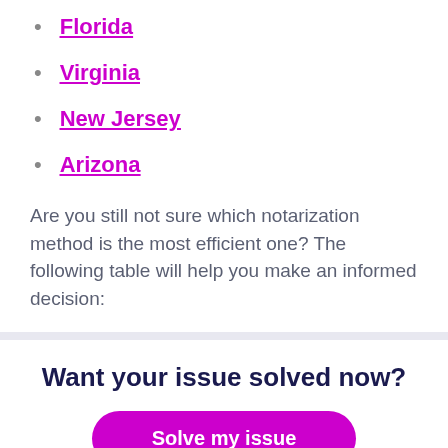Florida
Virginia
New Jersey
Arizona
Are you still not sure which notarization method is the most efficient one? The following table will help you make an informed decision:
Want your issue solved now?
Solve my issue